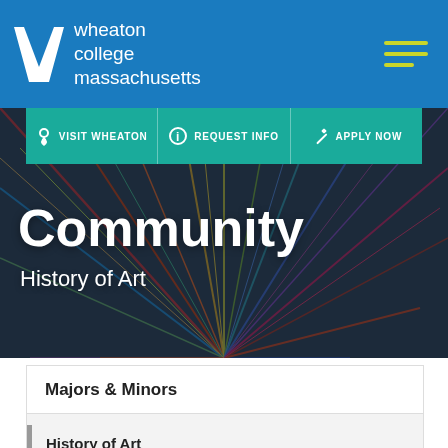wheaton college massachusetts
[Figure (screenshot): Wheaton College Massachusetts website screenshot showing navigation bar with VISIT WHEATON, REQUEST INFO, APPLY NOW links over a colorful abstract art background with Community heading and History of Art subheading, followed by a Majors & Minors accordion section]
Community
History of Art
Majors & Minors
History of Art